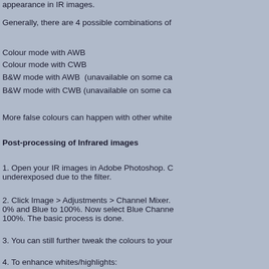appearance in IR images.
Generally, there are 4 possible combinations of
Colour mode with AWB
Colour mode with CWB
B&W mode with AWB  (unavailable on some ca
B&W mode with CWB (unavailable on some ca
More false colours can happen with other white
Post-processing of Infrared images
1. Open your IR images in Adobe Photoshop. C... underexposed due to the filter.
2. Click Image > Adjustments > Channel Mixer. 0% and Blue to 100%. Now select Blue Channe 100%. The basic process is done.
3. You can still further tweak the colours to your
4. To enhance whites/highlights:
Click Image > Adjustments > Selective Colour. enhance whites/highlights. Experiment with the
5. To obtain a cyan-tint:
Click Image > Adjustments > Selective Colour.
6. To obtain a yellow-tint:
Click Image > Adjustments > Selective Colour.